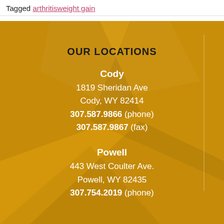Tagged arthritisweight gain
OUR LOCATIONS
Cody
1819 Sheridan Ave
Cody, WY 82414
307.587.9866 (phone)
307.587.9867 (fax)
Powell
443 West Coulter Ave.
Powell, WY 82435
307.754.2019 (phone)